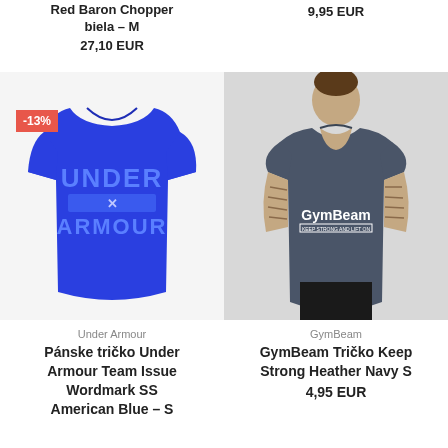Red Baron Chopper biela – M
27,10 EUR
9,95 EUR
[Figure (photo): Blue Under Armour t-shirt with -13% discount badge]
[Figure (photo): Man wearing GymBeam Keep Strong Heather Navy t-shirt]
Under Armour
Pánske tričko Under Armour Team Issue Wordmark SS American Blue – S
GymBeam
GymBeam Tričko Keep Strong Heather Navy S
4,95 EUR